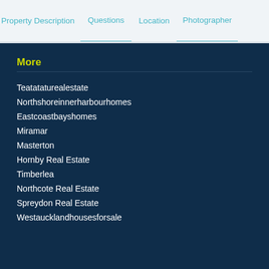Property Description | Questions | Location | Photographer
More
Teatataturealestate
Northshoreinnerharbourhomes
Eastcoastbayshomes
Miramar
Masterton
Hornby Real Estate
Timberlea
Northcote Real Estate
Spreydon Real Estate
Westaucklandhousesforsale